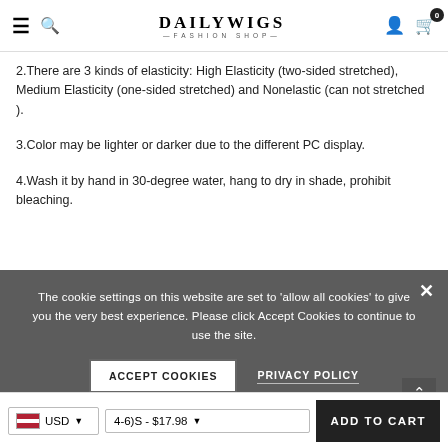DAILYWIGS — FASHION SHOP
2.There are 3 kinds of elasticity: High Elasticity (two-sided stretched), Medium Elasticity (one-sided stretched) and Nonelastic (can not stretched ).
3.Color may be lighter or darker due to the different PC display.
4.Wash it by hand in 30-degree water, hang to dry in shade, prohibit bleaching.
The cookie settings on this website are set to 'allow all cookies' to give you the very best experience. Please click Accept Cookies to continue to use the site.
SHIPPING & RETURNS
USD  4-6)S - $17.98  ADD TO CART